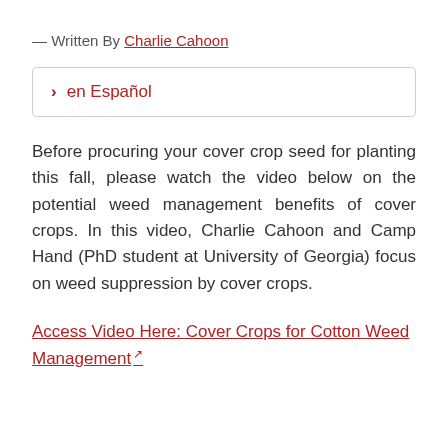— Written By Charlie Cahoon
› en Español
Before procuring your cover crop seed for planting this fall, please watch the video below on the potential weed management benefits of cover crops. In this video, Charlie Cahoon and Camp Hand (PhD student at University of Georgia) focus on weed suppression by cover crops.
Access Video Here: Cover Crops for Cotton Weed Management